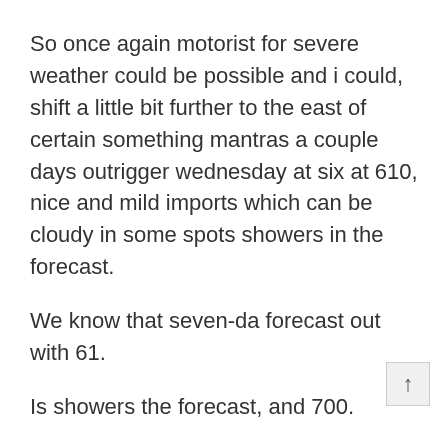So once again motorist for severe weather could be possible and i could, shift a little bit further to the east of certain something mantras a couple days outrigger wednesday at six at 610, nice and mild imports which can be cloudy in some spots showers in the forecast.
We know that seven-da forecast out with 61.
Is showers the forecast, and 700.
There is a nice and warm.
Unfortunately, one reason the forecast thursda afternoon evening to friday morning.